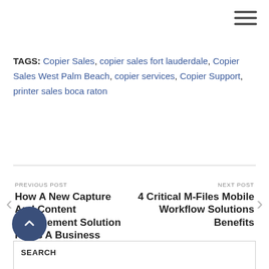TAGS: Copier Sales, copier sales fort lauderdale, Copier Sales West Palm Beach, copier services, Copier Support, printer sales boca raton
PREVIOUS POST
How A New Capture And Content Management Solution Helps A Business Achieve Success
NEXT POST
4 Critical M-Files Mobile Workflow Solutions Benefits
SEARCH